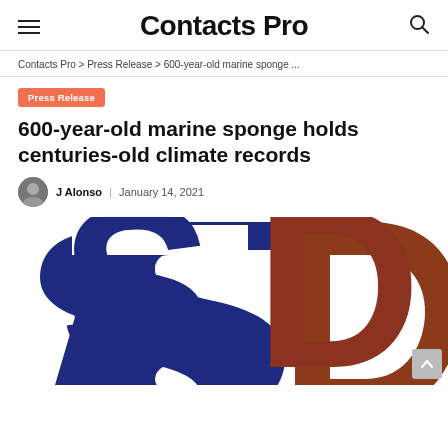Contacts Pro
Contacts Pro > Press Release > 600-year-old marine sponge ...
Press Release
600-year-old marine sponge holds centuries-old climate records
J Alonso | January 14, 2021
[Figure (logo): Large letters S and D in dark blue and brown/rust color, partial crop showing a website or publication logo]